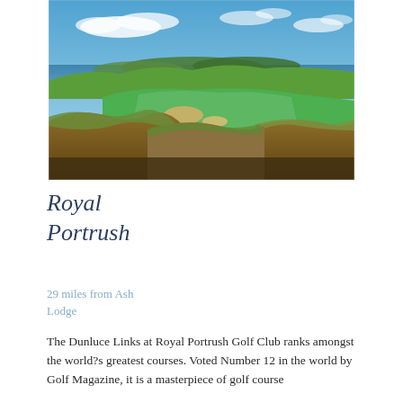[Figure (photo): Aerial/ground-level view of a links golf course with rolling grassy dunes, sand bunkers on a green fairway, and a coastal sea view with blue sky and scattered clouds in the background.]
Royal Portrush
29 miles from Ash Lodge
The Dunluce Links at Royal Portrush Golf Club ranks amongst the world?s greatest courses. Voted Number 12 in the world by Golf Magazine, it is a masterpiece of golf course